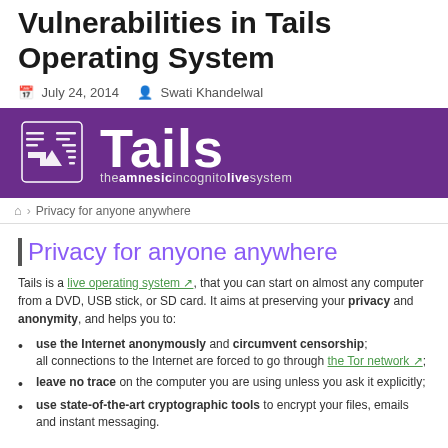Vulnerabilities in Tails Operating System
July 24, 2014   Swati Khandelwal
[Figure (logo): Tails OS banner with purple background showing the Tails logo (stylized shield/arrow icon) and wordmark 'Tails' with tagline 'the amnesic incognito live system']
Privacy for anyone anywhere
Privacy for anyone anywhere
Tails is a live operating system, that you can start on almost any computer from a DVD, USB stick, or SD card. It aims at preserving your privacy and anonymity, and helps you to:
use the Internet anonymously and circumvent censorship; all connections to the Internet are forced to go through the Tor network;
leave no trace on the computer you are using unless you ask it explicitly;
use state-of-the-art cryptographic tools to encrypt your files, emails and instant messaging.